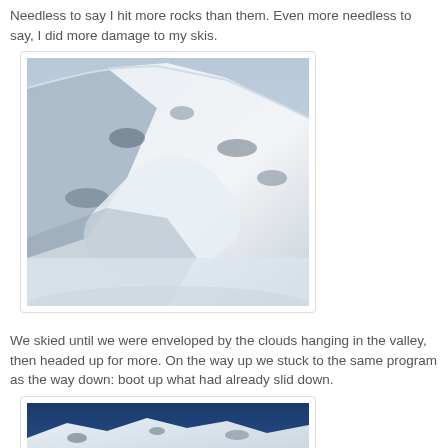Needless to say I hit more rocks than them. Even more needless to say, I did more damage to my skis.
[Figure (photo): Snowy mountain slope with exposed rocky areas and deep snow, blue sky visible, avalanche-prone terrain]
We skied until we were enveloped by the clouds hanging in the valley, then headed up for more. On the way up we stuck to the same program as the way down: boot up what had already slid down.
[Figure (photo): Partial view of snowy mountain peaks against a deep blue sky, bottom portion of image visible]